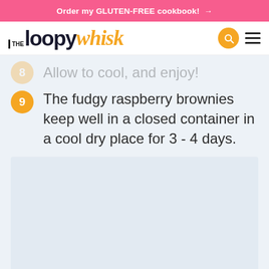Order my GLUTEN-FREE cookbook! →
[Figure (logo): The Loopy Whisk logo with search and menu icons]
Allow to cool, and enjoy!
The fudgy raspberry brownies keep well in a closed container in a cool dry place for 3 - 4 days.
[Figure (photo): Blank/loading image placeholder area below the recipe instructions]